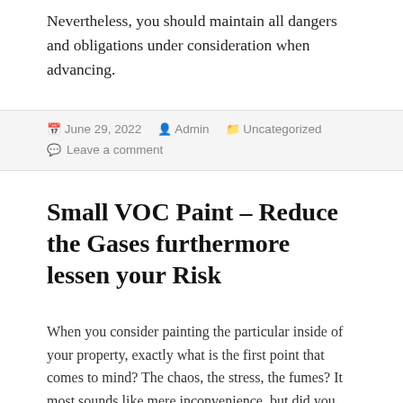Nevertheless, you should maintain all dangers and obligations under consideration when advancing.
June 29, 2022  Admin  Uncategorized  Leave a comment
Small VOC Paint – Reduce the Gases furthermore lessen your Risk
When you consider painting the particular inside of your property, exactly what is the first point that comes to mind? The chaos, the stress, the fumes? It most sounds like mere inconvenience, but did you know that the fumes can actually be harmful in order to your health?